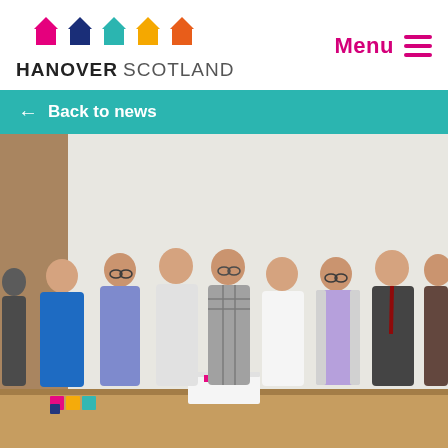[Figure (logo): Hanover Scotland logo with five colored house icons (pink, dark blue, teal, gold, orange) and the text HANOVER SCOTLAND]
Menu ≡
← Back to news
[Figure (photo): Group photo of approximately 10 people standing in a line in front of a white wall, smiling. A wooden table is in the foreground with a white cake decorated with colorful house shapes (the Hanover Scotland logo) and some small colored blocks.]